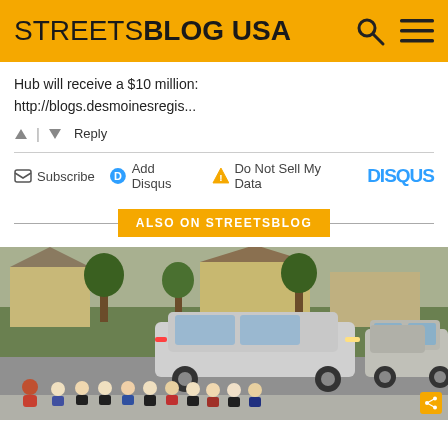STREETSBLOG USA
Hub will receive a $10 million:
http://blogs.desmoinesregis...
↑ | ↓  Reply
✉ Subscribe  ⓓ Add Disqus  ⚠ Do Not Sell My Data  DISQUS
ALSO ON STREETSBLOG
[Figure (photo): Children sitting on a curb next to a suburban street with two vehicles (a silver minivan and a silver pickup truck) parked nearby, and residential houses in the background.]